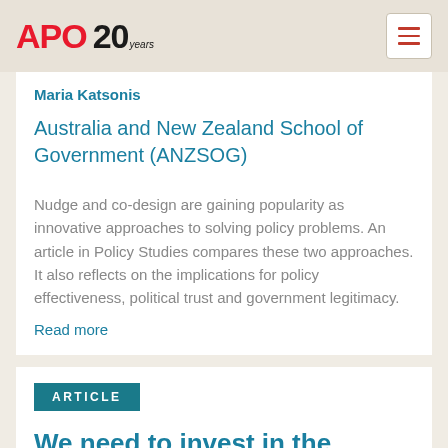APO 20 years
Maria Katsonis
Australia and New Zealand School of Government (ANZSOG)
Nudge and co-design are gaining popularity as innovative approaches to solving policy problems. An article in Policy Studies compares these two approaches. It also reflects on the implications for policy effectiveness, political trust and government legitimacy.
Read more
ARTICLE
We need to invest in the careers of researchers and policy